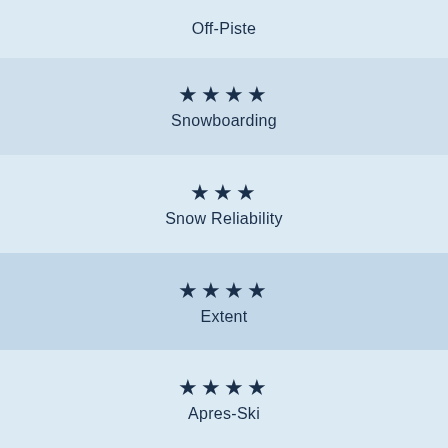Off-Piste
★★★★
Snowboarding
★★★
Snow Reliability
★★★★
Extent
★★★★
Apres-Ski